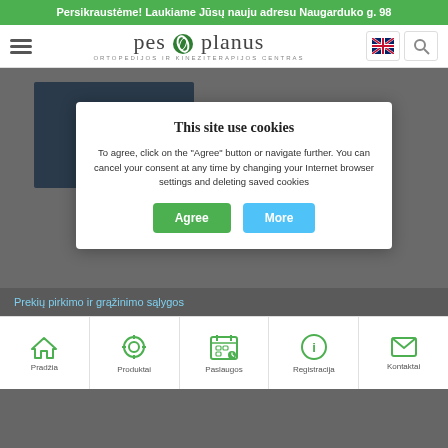Persikraustėme! Laukiame Jūsų nauju adresu Naugarduko g. 98
[Figure (screenshot): Navigation bar with hamburger menu, pes planus logo (green spiral icon), UK flag icon, and search icon]
[Figure (screenshot): Cookie consent modal dialog over grey background. Title: 'This site use cookies'. Body: 'To agree, click on the "Agree" button or navigate further. You can cancel your consent at any time by changing your Internet browser settings and deleting saved cookies'. Buttons: 'Agree' (green) and 'More' (light blue).]
Prekių pirkimo ir grąžinimo sąlygos
[Figure (screenshot): Bottom navigation bar with 5 icons: Pradžia (home), Produktai (settings/gear), Paslaugos (calendar/clock), Registracija (info speech bubble), Kontaktai (envelope)]